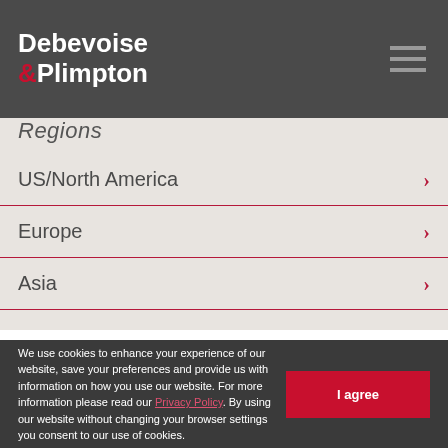Debevoise & Plimpton
Regions
US/North America
Europe
Asia
Related Professionals:
We use cookies to enhance your experience of our website, save your preferences and provide us with information on how you use our website. For more information please read our Privacy Policy. By using our website without changing your browser settings you consent to our use of cookies.